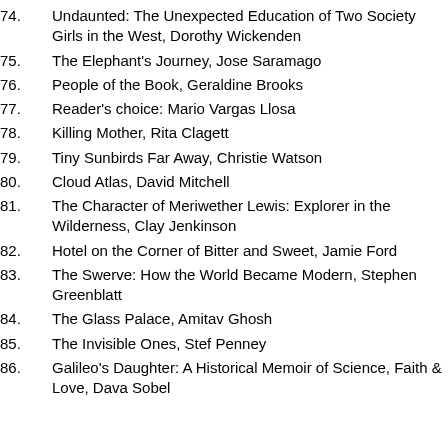74. Undaunted: The Unexpected Education of Two Society Girls in the West, Dorothy Wickenden
75. The Elephant's Journey, Jose Saramago
76. People of the Book, Geraldine Brooks
77. Reader's choice: Mario Vargas Llosa
78. Killing Mother, Rita Clagett
79. Tiny Sunbirds Far Away, Christie Watson
80. Cloud Atlas, David Mitchell
81. The Character of Meriwether Lewis: Explorer in the Wilderness, Clay Jenkinson
82. Hotel on the Corner of Bitter and Sweet, Jamie Ford
83. The Swerve: How the World Became Modern, Stephen Greenblatt
84. The Glass Palace, Amitav Ghosh
85. The Invisible Ones, Stef Penney
86. Galileo's Daughter: A Historical Memoir of Science, Faith & Love, Dava Sobel